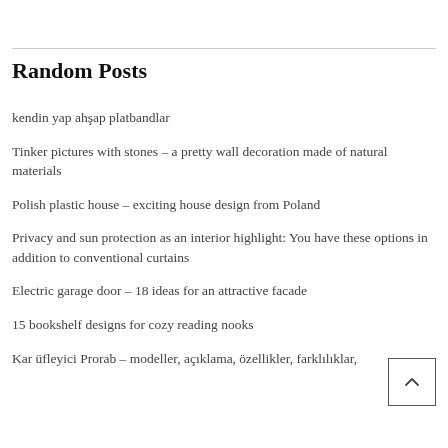Random Posts
kendin yap ahşap platbandlar
Tinker pictures with stones – a pretty wall decoration made of natural materials
Polish plastic house – exciting house design from Poland
Privacy and sun protection as an interior highlight: You have these options in addition to conventional curtains
Electric garage door – 18 ideas for an attractive facade
15 bookshelf designs for cozy reading nooks
Kar üfleyici Prorab – modeller, açıklama, özellikler, farklılıklar,